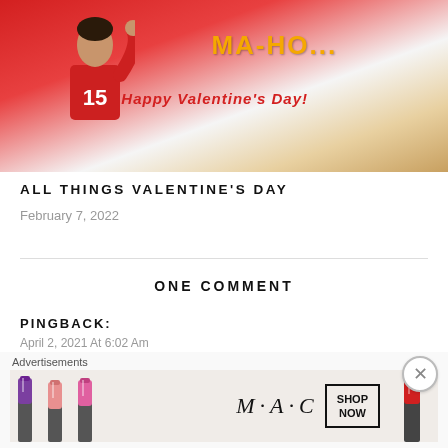[Figure (photo): Photo of a Valentine's Day card with a football player wearing jersey #15 and text 'MA-HO...' in orange and 'HAPPY VALENTINE'S DAY!' in red]
ALL THINGS VALENTINE'S DAY
February 7, 2022
ONE COMMENT
PINGBACK:
April 2, 2021 At 6:02 Am
March 2021 Book Review – Coming Up K...
Advertisements
[Figure (photo): MAC cosmetics advertisement banner with lipsticks in purple, pink, and red colors, MAC logo, and SHOP NOW button]